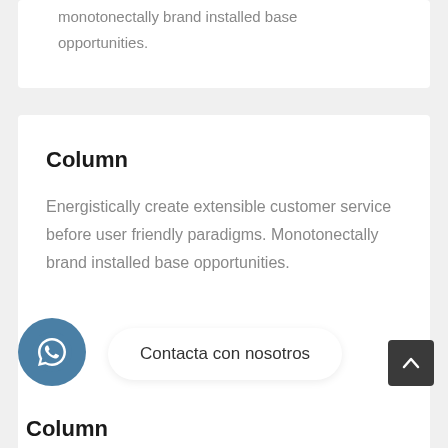monotonectally brand installed base opportunities.
Column
Energistically create extensible customer service before user friendly paradigms. Monotonectally brand installed base opportunities.
Contacta con nosotros
Column